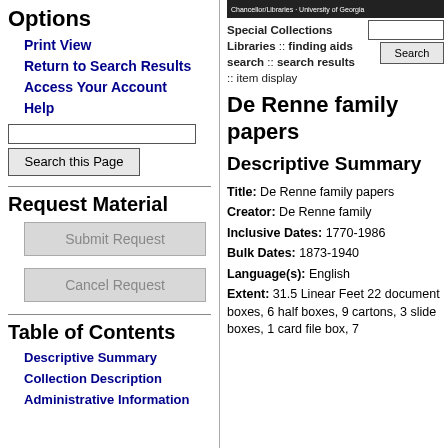Options
Print View
Return to Search Results
Access Your Account
Help
Request Material
Submit Request
Cancel Request
Table of Contents
Descriptive Summary
Collection Description
Administrative Information
Special Collections Libraries :: finding aids search :: search results :: item display
De Renne family papers
Descriptive Summary
Title: De Renne family papers
Creator: De Renne family
Inclusive Dates: 1770-1986
Bulk Dates: 1873-1940
Language(s): English
Extent: 31.5 Linear Feet 22 document boxes, 6 half boxes, 9 cartons, 3 slide boxes, 1 card file box, 7